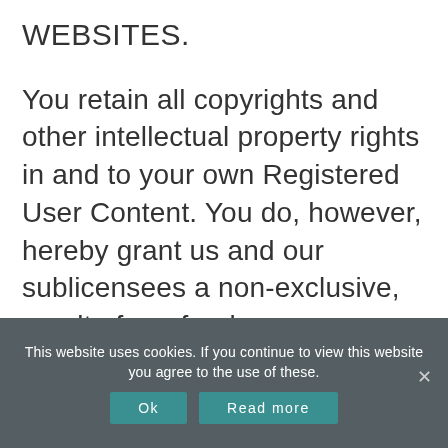WEBSITES.
You retain all copyrights and other intellectual property rights in and to your own Registered User Content. You do, however, hereby grant us and our sublicensees a non-exclusive, royalty-free, freely sublicensable, perpetual license to modify, compile, combine with other content, copy, record,
This website uses cookies. If you continue to view this website you agree to the use of these.
Ok
Read more